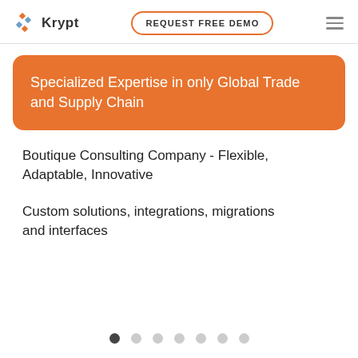Krypt | REQUEST FREE DEMO
Specialized Expertise in only Global Trade and Supply Chain
Boutique Consulting Company - Flexible, Adaptable, Innovative
Custom solutions, integrations, migrations and interfaces